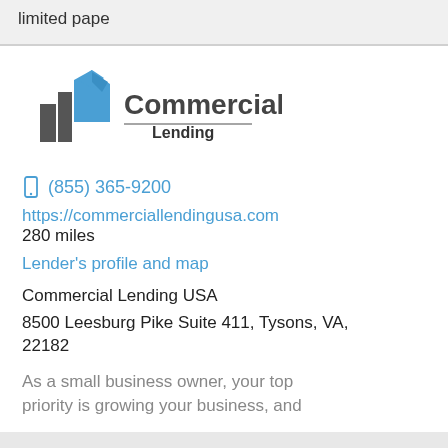limited pape
[Figure (logo): Commercial Lending USA logo with blue and dark building icon and text 'Commercial Lending']
☐ (855) 365-9200
https://commerciallendingusa.com
280 miles
Lender's profile and map
Commercial Lending USA
8500 Leesburg Pike Suite 411, Tysons, VA, 22182
As a small business owner, your top priority is growing your business, and